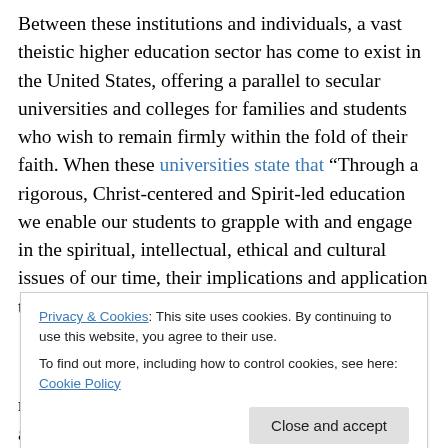Between these institutions and individuals, a vast theistic higher education sector has come to exist in the United States, offering a parallel to secular universities and colleges for families and students who wish to remain firmly within the fold of their faith. When these universities state that “Through a rigorous, Christ-centered and Spirit-led education we enable our students to grapple with and engage in the spiritual, intellectual, ethical and cultural issues of our time, their implications and application to everyday life.”, they make their purposes evident.
Privacy & Cookies: This site uses cookies. By continuing to use this website, you agree to their use. To find out more, including how to control cookies, see here: Cookie Policy
might be more cautious about supporting similar academic